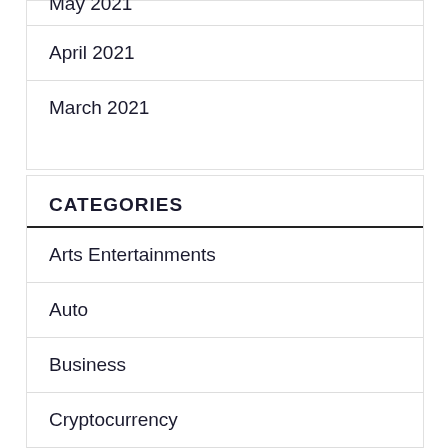April 2021
March 2021
CATEGORIES
Arts Entertainments
Auto
Business
Cryptocurrency
Digital Marketing